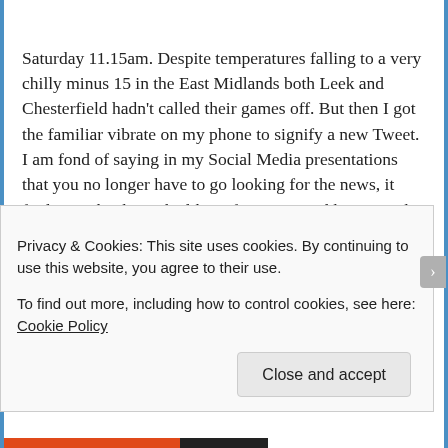Saturday 11.15am. Despite temperatures falling to a very chilly minus 15 in the East Midlands both Leek and Chesterfield hadn't called their games off. But then I got the familiar vibrate on my phone to signify a new Tweet. I am fond of saying in my Social Media presentations that you no longer have to go looking for the news, it finds you thanks to the likes of Twitter. And here was the perfect example. Both Leek Town and Chestefield had been forced to cancel their games.
I kept a stiff upper lip and said to CMF that today was all about us and there was no football distractions. She of
Privacy & Cookies: This site uses cookies. By continuing to use this website, you agree to their use.
To find out more, including how to control cookies, see here: Cookie Policy